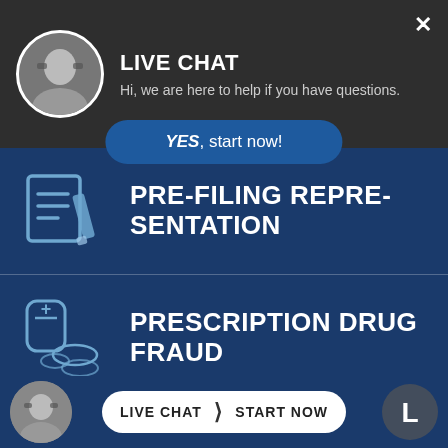[Figure (screenshot): Live chat overlay with female avatar, dark header saying LIVE CHAT with subtitle 'Hi, we are here to help if you have questions.' and a YES start now button below.]
LIVE CHAT
Hi, we are here to help if you have questions.
YES, start now!
PRE-FILING REPRESENTATION
PRESCRIPTION DRUG FRAUD
PROBATION VIOLATIONS
LIVE CHAT  START NOW